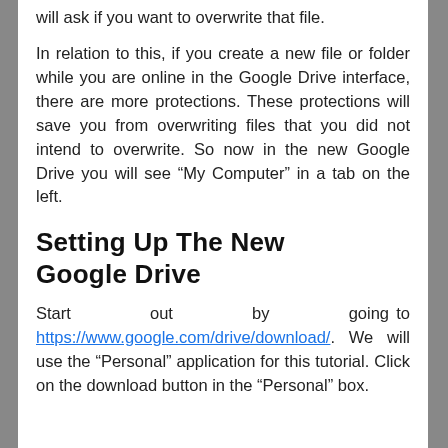will ask if you want to overwrite that file.
In relation to this, if you create a new file or folder while you are online in the Google Drive interface, there are more protections. These protections will save you from overwriting files that you did not intend to overwrite. So now in the new Google Drive you will see “My Computer” in a tab on the left.
Setting Up The New Google Drive
Start out by going to https://www.google.com/drive/download/. We will use the “Personal” application for this tutorial. Click on the download button in the “Personal” box.